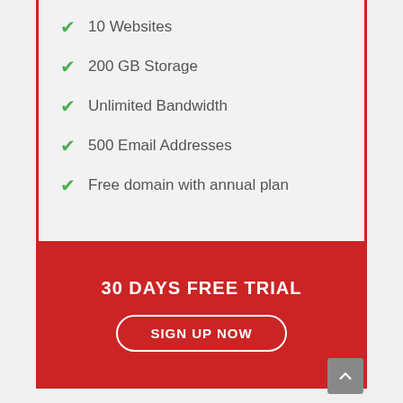10 Websites
200 GB Storage
Unlimited Bandwidth
500 Email Addresses
Free domain with annual plan
30 DAYS FREE TRIAL
SIGN UP NOW